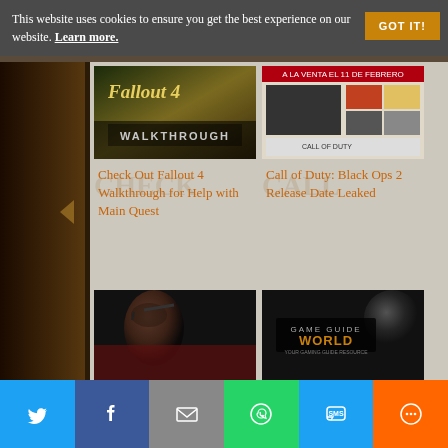This website uses cookies to ensure you get the best experience on our website. Learn more.
GOT IT!
[Figure (screenshot): Fallout 4 Walkthrough thumbnail image]
[Figure (screenshot): Call of Duty Black Ops 2 website screenshot thumbnail]
Check Out Fallout 4 Walkthrough for Help with Main Quest
Call of Duty: Black Ops 2 Release Date Leaked
[Figure (photo): Metal Gear Solid character portrait photo thumbnail]
[Figure (logo): Game Guide World logo thumbnail]
[Figure (infographic): Social share bar with Twitter, Facebook, Email, WhatsApp, SMS, and More buttons]